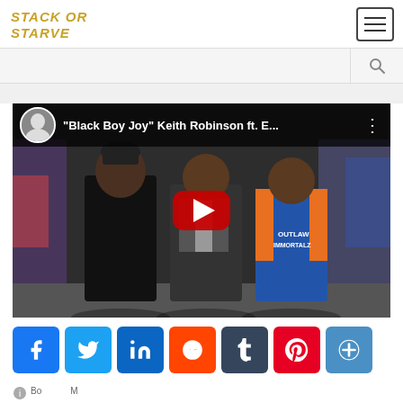[Figure (logo): Stack or Starve logo in gold italic text]
[Figure (screenshot): YouTube video thumbnail showing three men standing in front of a colorful mural. Video title: "Black Boy Joy" Keith Robinson ft. E... with a red play button overlay and channel avatar in top left corner.]
[Figure (infographic): Social media share buttons row: Facebook (blue), Twitter (blue), LinkedIn (blue), Reddit (orange), Tumblr (dark), Pinterest (red), More (blue plus icon)]